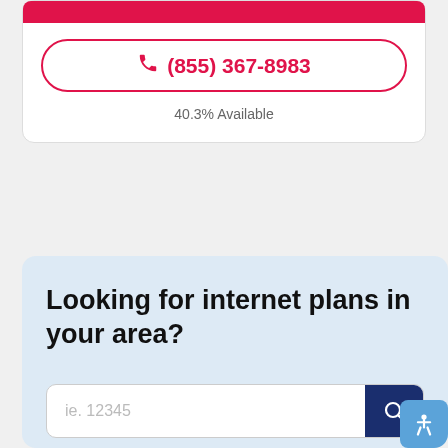[Figure (screenshot): Red bar at top of card]
(855) 367-8983
40.3% Available
Looking for internet plans in your area?
[Figure (screenshot): Search input field with placeholder 'ie. 12345' and a navy search button with magnifying glass icon, and an accessibility button in the corner]